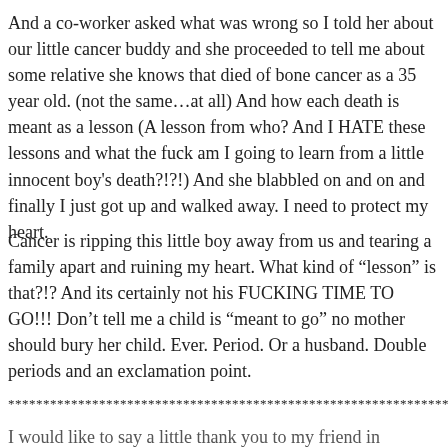And a co-worker asked what was wrong so I told her about our little cancer buddy and she proceeded to tell me about some relative she knows that died of bone cancer as a 35 year old. (not the same…at all) And how each death is meant as a lesson (A lesson from who? And I HATE these lessons and what the fuck am I going to learn from a little innocent boy's death?!?!) And she blabbled on and on and finally I just got up and walked away. I need to protect my heart.
Cancer is ripping this little boy away from us and tearing a family apart and ruining my heart. What kind of “lesson” is that?!? And its certainly not his FUCKING TIME TO GO!!! Don’t tell me a child is “meant to go” no mother should bury her child. Ever. Period. Or a husband. Double periods and an exclamation point.
*****************************************************************************
I would like to say a little thank you to my friend in belief...